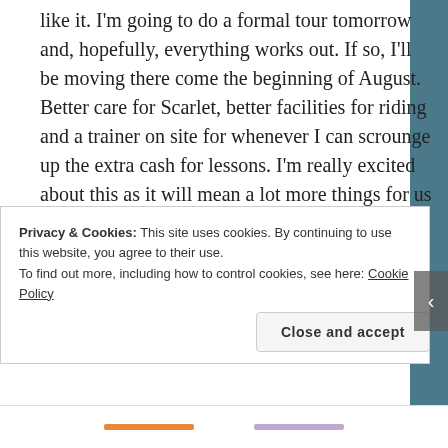like it. I'm going to do a formal tour tomorrow and, hopefully, everything works out. If so, I'll be moving there come the beginning of August. Better care for Scarlet, better facilities for riding and a trainer on site for whenever I can scrounge up the extra cash for lessons. I'm really excited about this as it will mean a lot more things for us to do while riding and the potential of having a barn community to be a part of. I'd really love that.
Privacy & Cookies: This site uses cookies. By continuing to use this website, you agree to their use. To find out more, including how to control cookies, see here: Cookie Policy
Close and accept